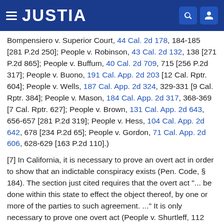JUSTIA
Bompensiero v. Superior Court, 44 Cal. 2d 178, 184-185 [281 P.2d 250]; People v. Robinson, 43 Cal. 2d 132, 138 [271 P.2d 865]; People v. Buffum, 40 Cal. 2d 709, 715 [256 P.2d 317]; People v. Buono, 191 Cal. App. 2d 203 [12 Cal. Rptr. 604]; People v. Wells, 187 Cal. App. 2d 324, 329-331 [9 Cal. Rptr. 384]; People v. Mason, 184 Cal. App. 2d 317, 368-369 [7 Cal. Rptr. 627]; People v. Brown, 131 Cal. App. 2d 643, 656-657 [281 P.2d 319]; People v. Hess, 104 Cal. App. 2d 642, 678 [234 P.2d 65]; People v. Gordon, 71 Cal. App. 2d 606, 628-629 [163 P.2d 110].)
[7] In California, it is necessary to prove an overt act in order to show that an indictable conspiracy exists (Pen. Code, § 184). The section just cited requires that the overt act "... be done within this state to effect the object thereof, by one or more of the parties to such agreement. ..." It is only necessary to prove one overt act (People v. Shurtleff, 112 Cal. App. 729 [299 P. 921]; [8] But